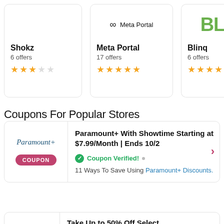[Figure (logo): Shokz store card with 2.5 star rating and 6 offers]
[Figure (logo): Meta Portal store card with 5 star rating and 17 offers]
[Figure (logo): Blinq store card with approximately 4 star rating and 6 offers]
Coupons For Popular Stores
Paramount+ With Showtime Starting at $7.99/Month | Ends 10/2
Coupon Verified! • 11 Ways To Save Using Paramount+ Discounts.
Take Up to 50% Off Select...